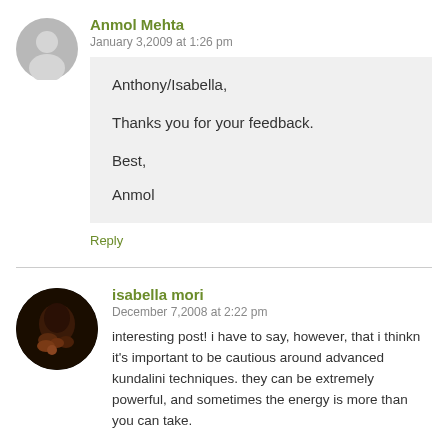Anmol Mehta
January 3,2009 at 1:26 pm
Anthony/Isabella,

Thanks you for your feedback.

Best,
Anmol
Reply
isabella mori
December 7,2008 at 2:22 pm
interesting post! i have to say, however, that i thinkn it's important to be cautious around advanced kundalini techniques. they can be extremely powerful, and sometimes the energy is more than you can take.